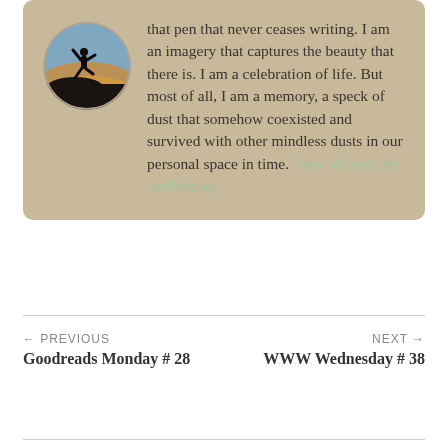[Figure (photo): Circular avatar photo of a silhouette of a person jumping on a rocky cliff against a sunset sky]
that pen that never ceases writing. I am an imagery that captures the beauty that there is. I am a celebration of life. But most of all, I am a memory, a speck of dust that somehow coexisted and survived with other mindless dusts in our personal space in time. View all posts by carllbatnag
← PREVIOUS
Goodreads Monday # 28
NEXT →
WWW Wednesday # 38